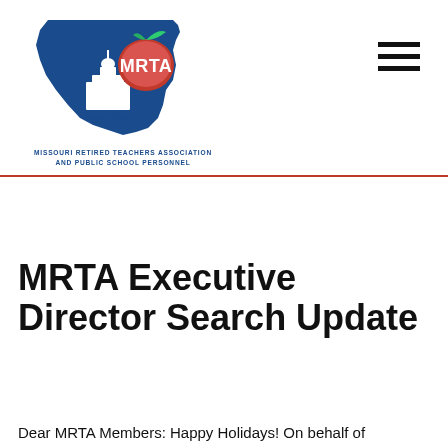[Figure (logo): MRTA logo: Missouri state outline in dark blue with a red apple and white MRTA text, capitol building illustration, ORG. 1960 text below]
MISSOURI RETIRED TEACHERS ASSOCIATION
AND PUBLIC SCHOOL PERSONNEL
MRTA Executive Director Search Update
Dear MRTA Members: Happy Holidays! On behalf of